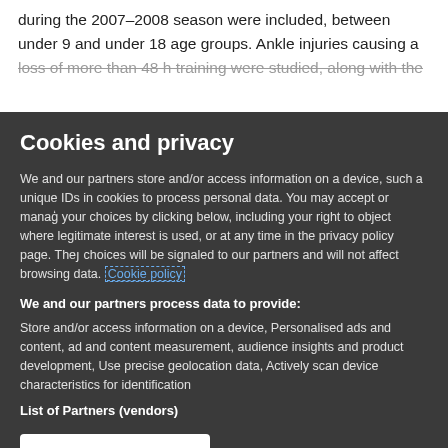during the 2007–2008 season were included, between under 9 and under 18 age groups. Ankle injuries causing a loss of more than 48 h training were studied, along with the
Cookies and privacy
We and our partners store and/or access information on a device, such as unique IDs in cookies to process personal data. You may accept or manage your choices by clicking below, including your right to object where legitimate interest is used, or at any time in the privacy policy page. These choices will be signaled to our partners and will not affect browsing data. Cookie policy
We and our partners process data to provide:
Store and/or access information on a device, Personalised ads and content, ad and content measurement, audience insights and product development, Use precise geolocation data, Actively scan device characteristics for identification
List of Partners (vendors)
I Accept